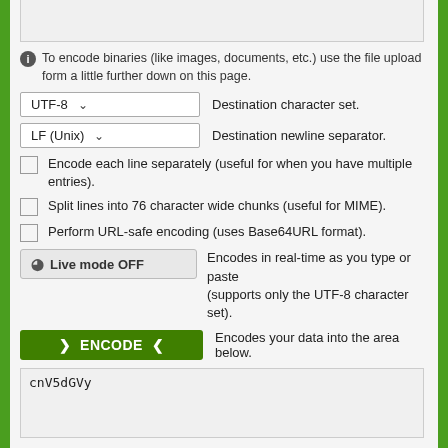[Figure (screenshot): Top portion of a textarea input box (clipped at top)]
To encode binaries (like images, documents, etc.) use the file upload form a little further down on this page.
UTF-8 — Destination character set.
LF (Unix) — Destination newline separator.
Encode each line separately (useful for when you have multiple entries).
Split lines into 76 character wide chunks (useful for MIME).
Perform URL-safe encoding (uses Base64URL format).
Live mode OFF — Encodes in real-time as you type or paste (supports only the UTF-8 character set).
> ENCODE < — Encodes your data into the area below.
cnV5dGVy